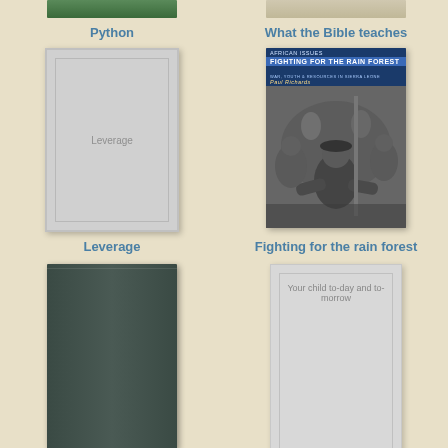[Figure (photo): Partial top of a book cover for Python]
Python
[Figure (photo): Partial top of a book cover for What the Bible teaches]
What the Bible teaches
[Figure (photo): Book cover placeholder with title Leverage]
Leverage
[Figure (photo): Book cover for Fighting for the rain forest by Paul Richards - African Issues series, black and white photo of soldiers]
Fighting for the rain forest
[Figure (photo): Dark green/teal book cover, mostly plain]
[Figure (photo): Book cover placeholder with title Your child to-day and to-morrow]